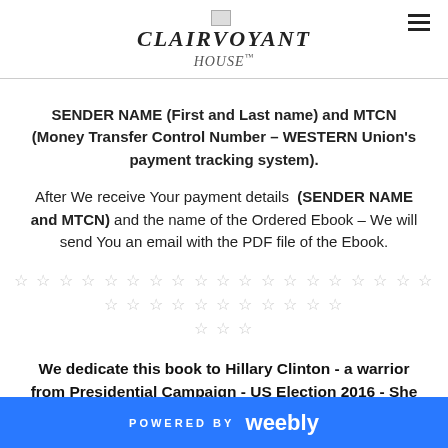CLAIRVOYANT
SENDER NAME (First and Last name) and MTCN (Money Transfer Control Number – WESTERN Union's payment tracking system). After We receive Your payment details (SENDER NAME and MTCN) and the name of the Ordered Ebook – We will send You an email with the PDF file of the Ebook.
☆ ☆ ☆ ☆ ☆ ☆ ☆ ☆ ☆ ☆ ☆ ☆ ☆ ☆ ☆ ☆ ☆ ☆ ☆ ☆ ☆ ☆ ☆ ☆ ☆ ☆ ☆ ☆ ☆ ☆ ☆ ☆ ☆
We dedicate this book to Hillary Clinton - a warrior from Presidential Campaign - US Election 2016 - She
POWERED BY weebly